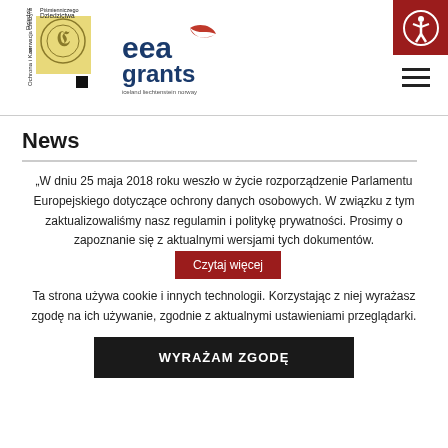[Figure (logo): Dziedzictwa Piśmienniczego / Ochrona i Konserwacja Cieszyńskiego logo with decorative circular emblem on yellow background, rotated text]
[Figure (logo): EEA Grants logo — iceland liechtenstein norway]
[Figure (illustration): Accessibility icon button — white person figure in circle on dark red background]
[Figure (illustration): Hamburger menu icon — three horizontal lines]
News
„W dniu 25 maja 2018 roku weszło w życie rozporządzenie Parlamentu Europejskiego dotyczące ochrony danych osobowych. W związku z tym zaktualizowaliśmy nasz regulamin i politykę prywatności. Prosimy o zapoznanie się z aktualnymi wersjami tych dokumentów.
Czytaj więcej
Ta strona używa cookie i innych technologii. Korzystając z niej wyrażasz zgodę na ich używanie, zgodnie z aktualnymi ustawieniami przeglądarki.
WYRAŻAM ZGODĘ